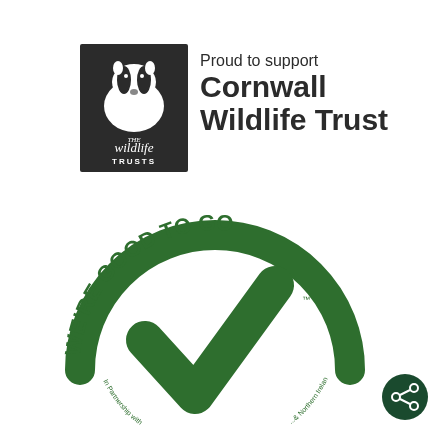[Figure (logo): The Wildlife Trusts logo — dark square badge with badger illustration and 'THE wildlife TRUSTS' text]
Proud to support Cornwall Wildlife Trust
[Figure (logo): We're Good To Go circular certification badge — green text around a large green checkmark, with 'In Partnership with...' and '& Northern Ireland' text at the bottom arc]